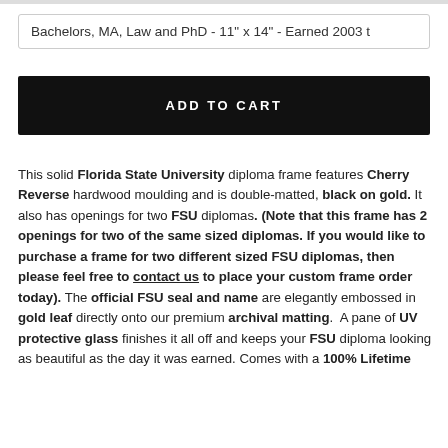Bachelors, MA, Law and PhD - 11" x 14" - Earned 2003 t
ADD TO CART
This solid Florida State University diploma frame features Cherry Reverse hardwood moulding and is double-matted, black on gold. It also has openings for two FSU diplomas. (Note that this frame has 2 openings for two of the same sized diplomas. If you would like to purchase a frame for two different sized FSU diplomas, then please feel free to contact us to place your custom frame order today). The official FSU seal and name are elegantly embossed in gold leaf directly onto our premium archival matting. A pane of UV protective glass finishes it all off and keeps your FSU diploma looking as beautiful as the day it was earned. Comes with a 100% Lifetime